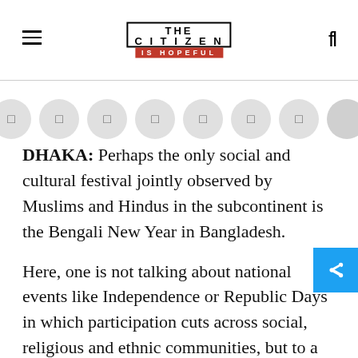The Citizen — IS HOPEFUL
[Figure (other): Row of circular social share/icon buttons]
DHAKA: Perhaps the only social and cultural festival jointly observed by Muslims and Hindus in the subcontinent is the Bengali New Year in Bangladesh.

Here, one is not talking about national events like Independence or Republic Days in which participation cuts across social, religious and ethnic communities, but to a traditional cultural festival with Hindu undertones.